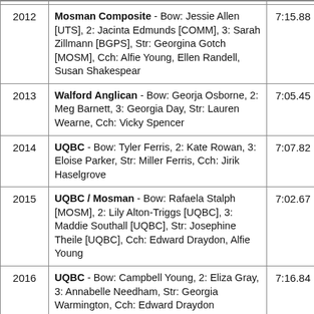| Year | Crew | Time |
| --- | --- | --- |
| 2012 | Mosman Composite - Bow: Jessie Allen [UTS], 2: Jacinta Edmunds [COMM], 3: Sarah Zillmann [BGPS], Str: Georgina Gotch [MOSM], Cch: Alfie Young, Ellen Randell, Susan Shakespear | 7:15.88 |
| 2013 | Walford Anglican - Bow: Georja Osborne, 2: Meg Barnett, 3: Georgia Day, Str: Lauren Wearne, Cch: Vicky Spencer | 7:05.45 |
| 2014 | UQBC - Bow: Tyler Ferris, 2: Kate Rowan, 3: Eloise Parker, Str: Miller Ferris, Cch: Jirik Haselgrove | 7:07.82 |
| 2015 | UQBC / Mosman - Bow: Rafaela Stalph [MOSM], 2: Lily Alton-Triggs [UQBC], 3: Maddie Southall [UQBC], Str: Josephine Theile [UQBC], Cch: Edward Draydon, Alfie Young | 7:02.67 |
| 2016 | UQBC - Bow: Campbell Young, 2: Eliza Gray, 3: Annabelle Needham, Str: Georgia Warmington, Cch: Edward Draydon | 7:16.84 |
| 2017 | UQBC - Bow: Hilary Ballinger, 2: Phoebe … | 7:19.11 |